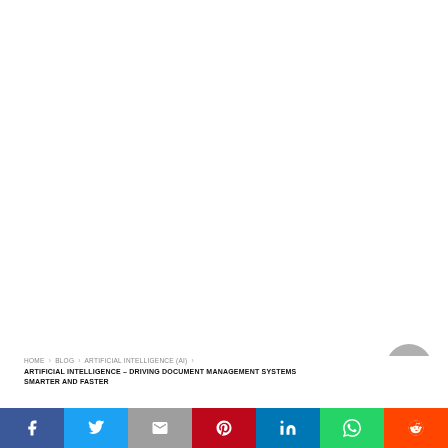[Figure (illustration): Large white/blank area occupying the upper portion of the page, representing the top of a webpage screenshot.]
HOME › BLOG › ARTIFICIAL INTELLIGENCE (AI) › ARTIFICIAL INTELLIGENCE – DRIVING DOCUMENT MANAGEMENT SYSTEMS SMARTER AND FASTER
[Figure (other): Social media share bar with icons for Facebook, Twitter, Gmail/Email, Pinterest, LinkedIn, WhatsApp, and Reddit.]